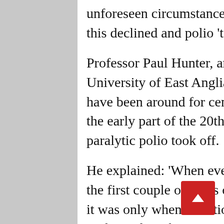unforeseen circumstance of better living conditions was that this declined and polio 'took off', he said.
Professor Paul Hunter, an infectious disease expert at the University of East Anglia, told MailOnline that although polio have been around for centuries or millennia, it was only during the early part of the 20th century that big epidemics of paralytic polio took off.
He explained: 'When every child got infected with poliovirus in the first couple of years of life you still saw some paralysis but it was only when infections were delayed until older age that such paralysis became more common.